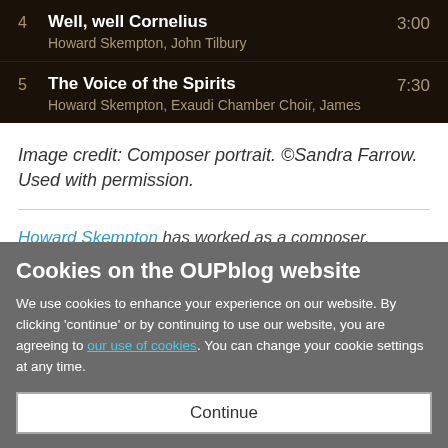4  Well, well Cornelius  3:00
Howard Skempton, John Tilbury
5  The Voice of the Spirits  7:30
Howard Skempton, Exaudi Chamber Choir, James
Image credit: Composer portrait. ©Sandra Farrow. Used with permission.
Howard Skempton has worked as a composer,
Cookies on the OUPblog website
We use cookies to enhance your experience on our website. By clicking 'continue' or by continuing to use our website, you are agreeing to our use of cookies. You can change your cookie settings at any time.
[Continue]